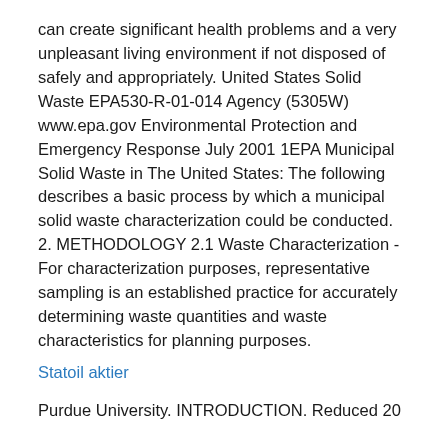can create significant health problems and a very unpleasant living environment if not disposed of safely and appropriately. United States Solid Waste EPA530-R-01-014 Agency (5305W) www.epa.gov Environmental Protection and Emergency Response July 2001 1EPA Municipal Solid Waste in The United States: The following describes a basic process by which a municipal solid waste characterization could be conducted. 2. METHODOLOGY 2.1 Waste Characterization - For characterization purposes, representative sampling is an established practice for accurately determining waste quantities and waste characteristics for planning purposes.
Statoil aktier
Purdue University. INTRODUCTION. Reduced 20